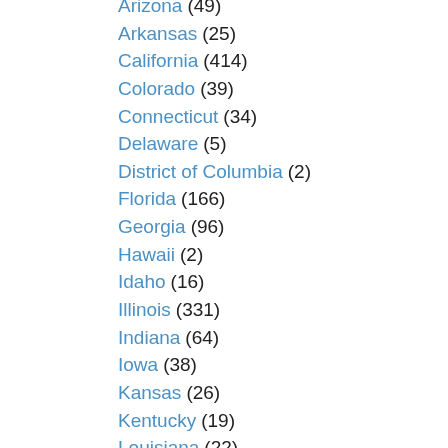Arizona (49)
Arkansas (25)
California (414)
Colorado (39)
Connecticut (34)
Delaware (5)
District of Columbia (2)
Florida (166)
Georgia (96)
Hawaii (2)
Idaho (16)
Illinois (331)
Indiana (64)
Iowa (38)
Kansas (26)
Kentucky (19)
Louisiana (22)
Maine (9)
Maryland (21)
Massachusetts (61)
Michigan (126)
Minnesota (91)